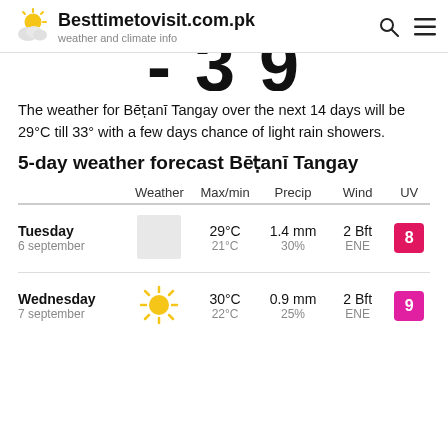Besttimetovisit.com.pk — weather and climate info
[Figure (other): Cropped large numbers showing '-', '3', '9' from a temperature display]
The weather for Bēṭanī Tangay over the next 14 days will be 29°C till 33° with a few days chance of light rain showers.
5-day weather forecast Bēṭanī Tangay
|  | Weather | Max/min | Precip | Wind | UV |
| --- | --- | --- | --- | --- | --- |
| Tuesday
6 september | (cloudy icon) | 29°C
21°C | 1.4 mm
30% | 2 Bft
ENE | 8 |
| Wednesday
7 september | (sun icon) | 30°C
22°C | 0.9 mm
25% | 2 Bft
ENE | 9 |